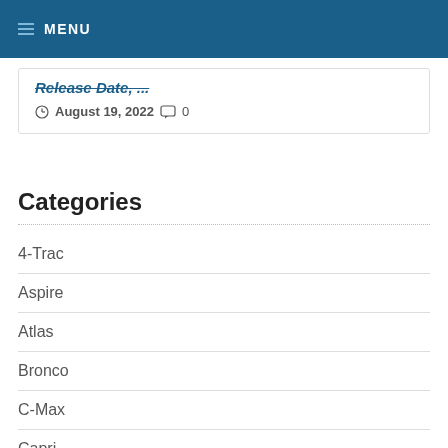MENU
Release Date, ... August 19, 2022  0
Categories
4-Trac
Aspire
Atlas
Bronco
C-Max
Capri
Caspi